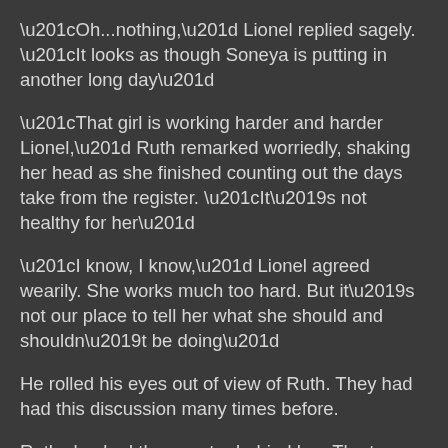“Oh...nothing,” Lionel replied sagely. “It looks as though Soneya is putting in another long day”
“That girl is working harder and harder Lionel,” Ruth remarked worriedly, shaking her head as she finished counting out the days take from the register. “It’s not healthy for her”
“I know, I know,” Lionel agreed wearily. She works much too hard. But it’s not our place to tell her what she should and shouldn’t be doing”
He rolled his eyes out of view of Ruth. They had had this discussion many times before.
Ruth checked the counter behind her. The two large black soup pots there were still switched on. She hadn’t yet emptied them.
“Do you...think you should take a meal across to her Lionel? She would have skipped dinner again. It’s not right for